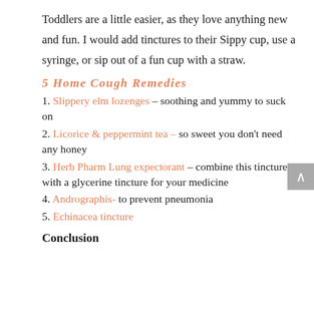Toddlers are a little easier, as they love anything new and fun. I would add tinctures to their Sippy cup, use a syringe, or sip out of a fun cup with a straw.
5 Home Cough Remedies
1. Slippery elm lozenges – soothing and yummy to suck on
2. Licorice & peppermint tea – so sweet you don't need any honey
3. Herb Pharm Lung expectorant – combine this tincture with a glycerine tincture for your medicine
4. Andrographis- to prevent pneumonia
5. Echinacea tincture
Conclusion